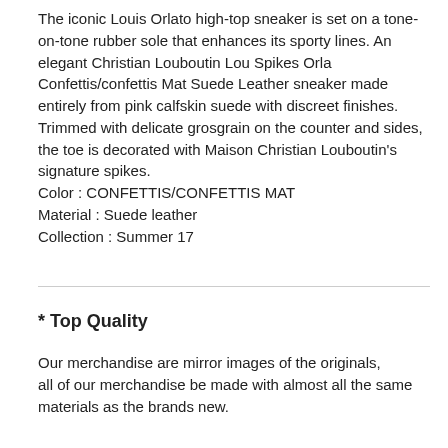The iconic Louis Orlato high-top sneaker is set on a tone-on-tone rubber sole that enhances its sporty lines. An elegant Christian Louboutin Lou Spikes Orla Confettis/confettis Mat Suede Leather sneaker made entirely from pink calfskin suede with discreet finishes. Trimmed with delicate grosgrain on the counter and sides, the toe is decorated with Maison Christian Louboutin's signature spikes.
Color : CONFETTIS/CONFETTIS MAT
Material : Suede leather
Collection : Summer 17
* Top Quality
Our merchandise are mirror images of the originals,
all of our merchandise be made with almost all the same materials as the brands new.